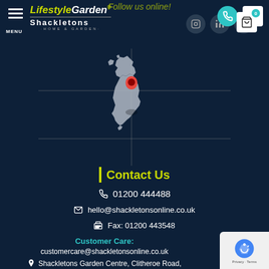Follow us online!
[Figure (logo): LifestyleGarden Shackletons Home & Garden logo with menu icon, social media icons (Instagram, LinkedIn, YouTube), phone button, and cart icon showing 0 items]
[Figure (map): Map of United Kingdom (Great Britain) with a red location pin marker placed in northern England/Lancashire area, with crosshair lines]
Contact Us
01200 444488
hello@shackletonsonline.co.uk
Fax: 01200 443548
Customer Care:
customercare@shackletonsonline.co.uk
Shackletons Garden Centre, Clitheroe Road,